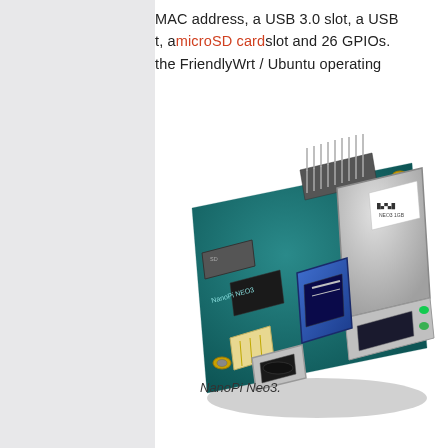MAC address, a USB 3.0 slot, a USB t, amicroSD cardslot and 26 GPIOs. the FriendlyWrt / Ubuntu operating
[Figure (photo): Close-up photograph of a NanoPi Neo3 single-board computer showing USB 3.0 port (blue), RJ45 Ethernet port with green LEDs, USB-C power port, GPIO header pins, and the green PCB with yellow mounting holes.]
NanoPi Neo3.